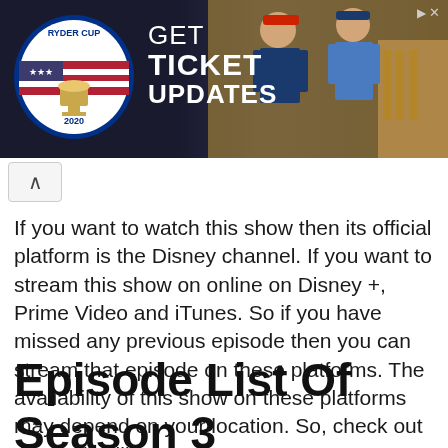[Figure (infographic): Ryder Cup advertisement banner with logo on left showing circular emblem with 'RYDER CUP 2020' text, GET TICKET UPDATES text in white, and two golfers photographed on the right side against a dark background. A close/skip button appears in the top right.]
If you want to watch this show then its official platform is the Disney channel. If you want to stream this show on online on Disney +, Prime Video and iTunes. So if you have missed any previous episode then you can stream that episode on these platforms. The availability of this show on these platforms may depend on your location. So, check out the availability once.
Episode List Of Season 3